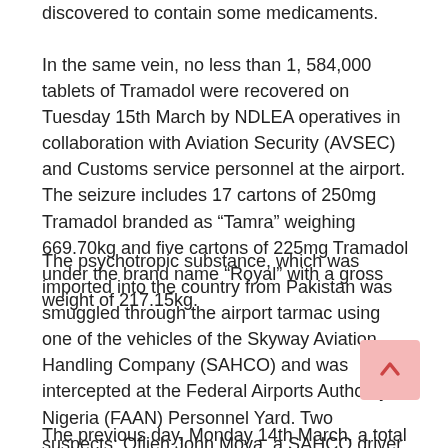discovered to contain some medicaments.
In the same vein, no less than 1, 584,000 tablets of Tramadol were recovered on Tuesday 15th March by NDLEA operatives in collaboration with Aviation Security (AVSEC) and Customs service personnel at the airport. The seizure includes 17 cartons of 250mg Tramadol branded as “Tamra” weighing 669.70kg and five cartons of 225mg Tramadol under the brand name “Royal” with a gross weight of 217.15kg.
The psychotropic substance, which was imported into the country from Pakistan was smuggled through the airport tarmac using one of the vehicles of the Skyway Aviation Handling Company (SAHCO) and was intercepted at the Federal Airports Authority of Nigeria (FAAN) Personnel Yard. Two suspects: Ofijeh John Mova, a SAHCO driver and Nyam Gazu Alex who is a security guard with the Nigerian Aviation Handling Company (NAHCO) have so far been arrested in connection with the seizure.
The previous day, Monday 14th March, a total of 2,160 tablets